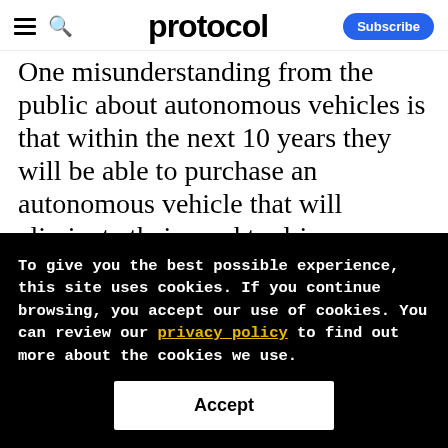protocol — Subscribe
One misunderstanding from the public about autonomous vehicles is that within the next 10 years they will be able to purchase an autonomous vehicle that will eliminate their need to drive anywhere. The technical difficulties in having a vehicle fully eliminate the need to drive, e.g., leave from their home in California and travel to anywhere in the
To give you the best possible experience, this site uses cookies. If you continue browsing, you accept our use of cookies. You can review our privacy policy to find out more about the cookies we use.
Accept